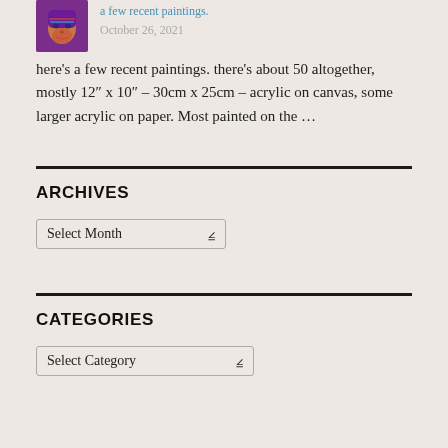[Figure (photo): Small avatar image of a stylized face painting with purple hair and colorful makeup]
a few recent paintings.
October 26, 2021
here's a few recent paintings. there's about 50 altogether, mostly 12″ x 10″ – 30cm x 25cm – acrylic on canvas, some larger acrylic on paper. Most painted on the …
ARCHIVES
Select Month
CATEGORIES
Select Category